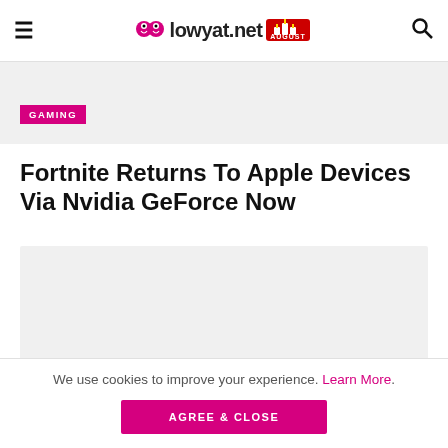lowyat.net — AUGUST
[Figure (photo): Top hero image placeholder, light gray background]
GAMING
Fortnite Returns To Apple Devices Via Nvidia GeForce Now
[Figure (photo): Main article image placeholder, light gray background]
We use cookies to improve your experience. Learn More.
AGREE & CLOSE